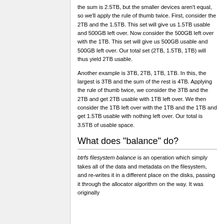the sum is 2.5TB, but the smaller devices aren't equal, so we'll apply the rule of thumb twice. First, consider the 2TB and the 1.5TB. This set will give us 1.5TB usable and 500GB left over. Now consider the 500GB left over with the 1TB. This set will give us 500GB usable and 500GB left over. Our total set (2TB, 1.5TB, 1TB) will thus yield 2TB usable.
Another example is 3TB, 2TB, 1TB, 1TB. In this, the largest is 3TB and the sum of the rest is 4TB. Applying the rule of thumb twice, we consider the 3TB and the 2TB and get 2TB usable with 1TB left over. We then consider the 1TB left over with the 1TB and the 1TB and get 1.5TB usable with nothing left over. Our total is 3.5TB of usable space.
What does "balance" do?
btrfs filesystem balance is an operation which simply takes all of the data and metadata on the filesystem, and re-writes it in a different place on the disks, passing it through the allocator algorithm on the way. It was originally